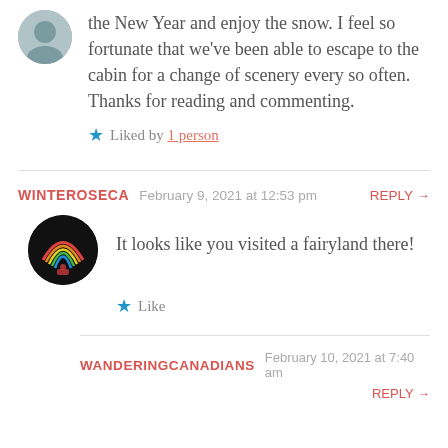the New Year and enjoy the snow. I feel so fortunate that we've been able to escape to the cabin for a change of scenery every so often. Thanks for reading and commenting.
Liked by 1 person
WINTEROSECA   February 9, 2021 at 12:53 pm   REPLY →
It looks like you visited a fairyland there!
Like
WANDERINGCANADIANS   February 10, 2021 at 7:40 am   REPLY →